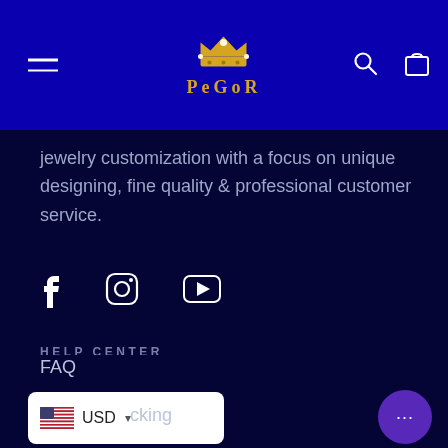Pegor - jewelry customization
jewelry customization with a focus on unique designing, fine quality & professional customer service.
[Figure (other): Social media icons: Facebook, Instagram, YouTube]
HELP CENTER
Contact us
Size Guidance
FAQ
cking
[Figure (other): Currency selector showing US flag and USD dropdown]
[Figure (other): Chat bubble button with dots icon]